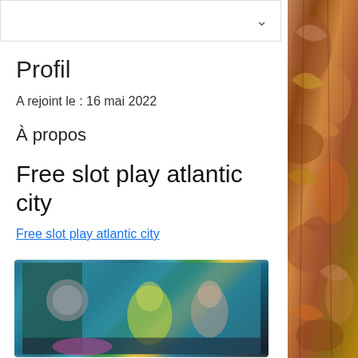Profil
A rejoint le : 16 mai 2022
À propos
Free slot play atlantic city
Free slot play atlantic city
[Figure (screenshot): Blurred screenshot of an online casino or gaming interface showing animated characters on a teal/blue background]